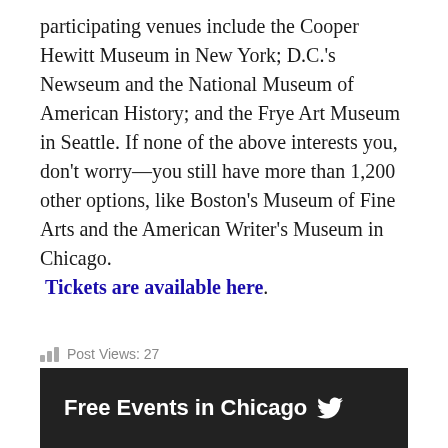participating venues include the Cooper Hewitt Museum in New York; D.C.'s Newseum and the National Museum of American History; and the Frye Art Museum in Seattle. If none of the above interests you, don't worry—you still have more than 1,200 other options, like Boston's Museum of Fine Arts and the American Writer's Museum in Chicago. Tickets are available here.
Post Views: 27
Free Events in Chicago